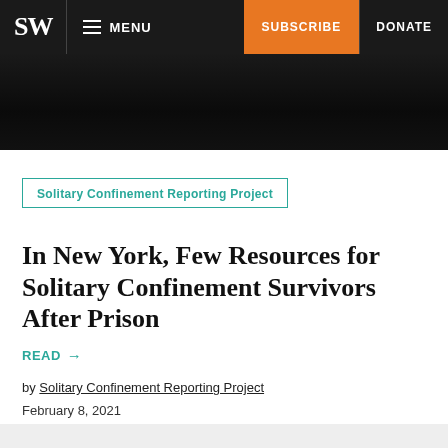SW  MENU  SUBSCRIBE  DONATE
[Figure (photo): Dark hero image, mostly black, partial view of a room interior]
Solitary Confinement Reporting Project
In New York, Few Resources for Solitary Confinement Survivors After Prison
READ →
by Solitary Confinement Reporting Project
February 8, 2021